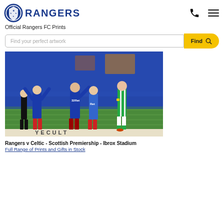[Figure (logo): Rangers FC logo with blue shield and white star, next to RANGERS text in bold blue]
Official Rangers FC Prints
Find your perfect artwork
[Figure (photo): Football match photo: Rangers v Celtic at Ibrox Stadium. Rangers players in blue celebrating, Celtic player in green/white running, referee in black on left.]
Rangers v Celtic - Scottish Premiership - Ibrox Stadium
Full Range of Prints and Gifts in Stock